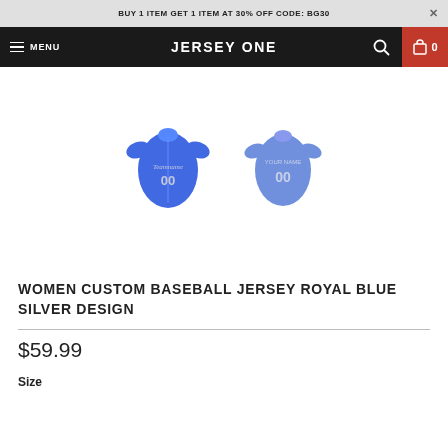BUY 1 ITEM GET 1 ITEM AT 30% OFF CODE: BG30
JERSEY ONE
[Figure (photo): Two women's custom baseball jerseys in royal blue shown front and back views, with silver/white text and number 00]
WOMEN CUSTOM BASEBALL JERSEY ROYAL BLUE SILVER DESIGN
$59.99
Size